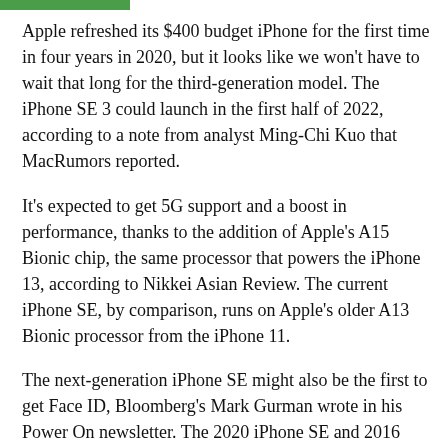Apple refreshed its $400 budget iPhone for the first time in four years in 2020, but it looks like we won't have to wait that long for the third-generation model. The iPhone SE 3 could launch in the first half of 2022, according to a note from analyst Ming-Chi Kuo that MacRumors reported.
It's expected to get 5G support and a boost in performance, thanks to the addition of Apple's A15 Bionic chip, the same processor that powers the iPhone 13, according to Nikkei Asian Review. The current iPhone SE, by comparison, runs on Apple's older A13 Bionic processor from the iPhone 11.
The next-generation iPhone SE might also be the first to get Face ID, Bloomberg's Mark Gurman wrote in his Power On newsletter. The 2020 iPhone SE and 2016 version both have Touch ID since they still have the